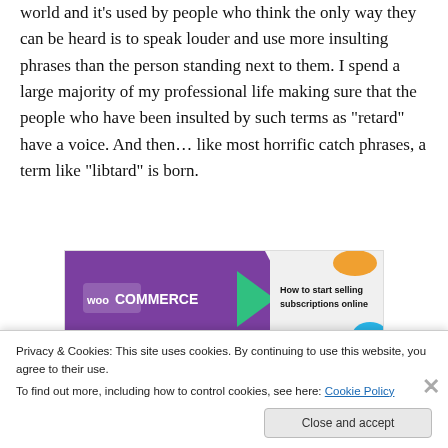world and it's used by people who think the only way they can be heard is to speak louder and use more insulting phrases than the person standing next to them. I spend a large majority of my professional life making sure that the people who have been insulted by such terms as “retard” have a voice. And then… like most horrific catch phrases, a term like “libtard” is born.
[Figure (other): WooCommerce advertisement banner: 'How to start selling subscriptions online']
Terms like “libtard” are used in a positive context by...
Privacy & Cookies: This site uses cookies. By continuing to use this website, you agree to their use.
To find out more, including how to control cookies, see here: Cookie Policy